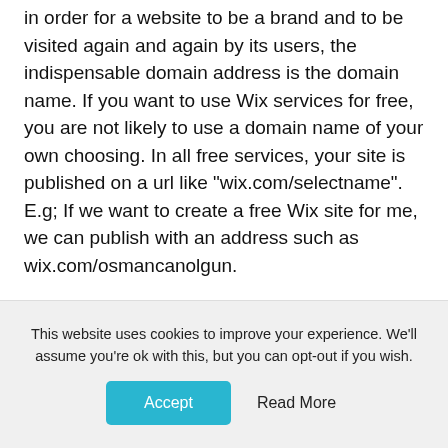in order for a website to be a brand and to be visited again and again by its users, the indispensable domain address is the domain name. If you want to use Wix services for free, you are not likely to use a domain name of your own choosing. In all free services, your site is published on a url like "wix.com/selectname". E.g; If we want to create a free Wix site for me, we can publish with an address such as wix.com/osmancanolgun.
Another disadvantage of Wix free plans is that you have to run ads on your site. Let's say you wanted to set up a car rental site and you chose a free wix package, you cannot prevent your competitors' advertisements from running on your site. Would you like to have an advertisement in your
This website uses cookies to improve your experience. We'll assume you're ok with this, but you can opt-out if you wish.
Accept    Read More